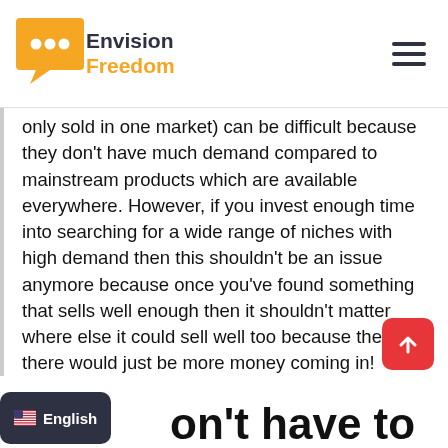[Figure (logo): Envision Freedom logo with yellow speech bubble icon and text 'Envision Freedom']
only sold in one market) can be difficult because they don't have much demand compared to mainstream products which are available everywhere. However, if you invest enough time into searching for a wide range of niches with high demand then this shouldn't be an issue anymore because once you've found something that sells well enough then it shouldn't matter where else it could sell well too because then there would just be more money coming in!
on't have to